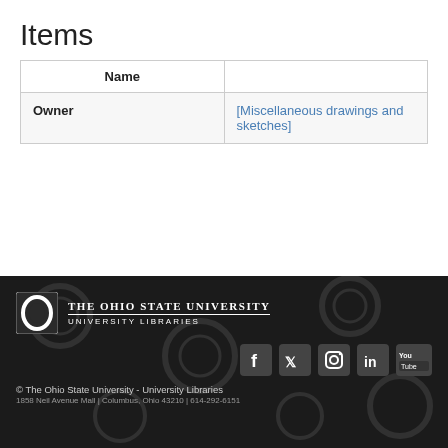Items
| Name |  |
| --- | --- |
| Owner | [Miscellaneous drawings and sketches] |
The Ohio State University University Libraries
© The Ohio State University - University Libraries